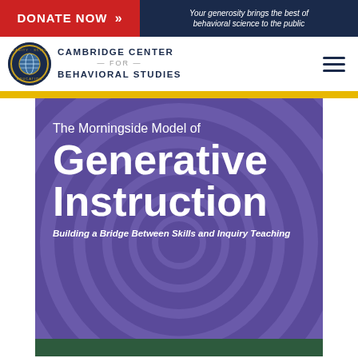[Figure (screenshot): Website screenshot of Cambridge Center for Behavioral Studies page showing a donation banner, navigation bar with logo, gold divider bar, and a book cover for 'The Morningside Model of Generative Instruction: Building a Bridge Between Skills and Inquiry Teaching']
The Morningside Model of Generative Instruction
Building a Bridge Between Skills and Inquiry Teaching